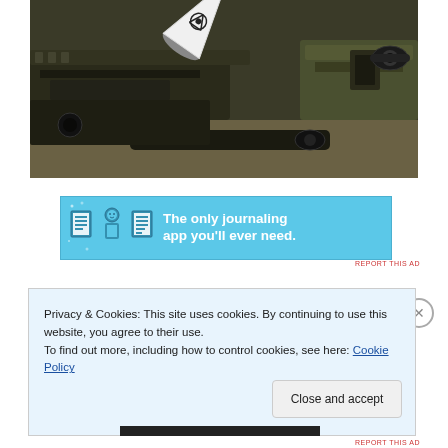[Figure (photo): Close-up photo of military weapons/firearms including rifles with scopes and a white conical projectile with a biohazard symbol, arranged on a surface]
[Figure (other): Advertisement banner with light blue background showing three pixel-art icons (notebook, character, notepad) and text 'The only journaling app you'll ever need.']
REPORT THIS AD
Privacy & Cookies: This site uses cookies. By continuing to use this website, you agree to their use.
To find out more, including how to control cookies, see here: Cookie Policy
Close and accept